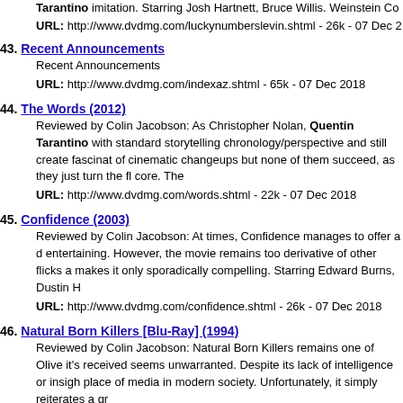Tarantino imitation. Starring Josh Hartnett, Bruce Willis. Weinstein Co... URL: http://www.dvdmg.com/luckynumberslevin.shtml - 26k - 07 Dec 2
43. Recent Announcements — Recent Announcements. URL: http://www.dvdmg.com/indexaz.shtml - 65k - 07 Dec 2018
44. The Words (2012) — Reviewed by Colin Jacobson: As Christopher Nolan, Quentin Tarantino... URL: http://www.dvdmg.com/words.shtml - 22k - 07 Dec 2018
45. Confidence (2003) — Reviewed by Colin Jacobson: At times, Confidence manages to offer a d... URL: http://www.dvdmg.com/confidence.shtml - 26k - 07 Dec 2018
46. Natural Born Killers [Blu-Ray] (1994) — Reviewed by Colin Jacobson: Natural Born Killers remains one of Olive... URL: http://www.dvdmg.com/naturalbornkillersbr.shtml - 28k - 07 Dec
47. The Good, The Bad & The Ugly: Collector's Set (1967)